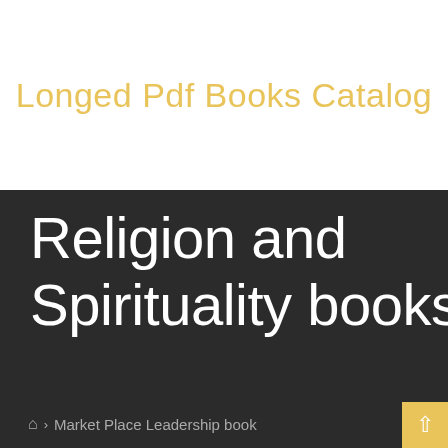Longed Pdf Books Catalog
Religion and Spirituality books
🏠 › Market Place Leadership book